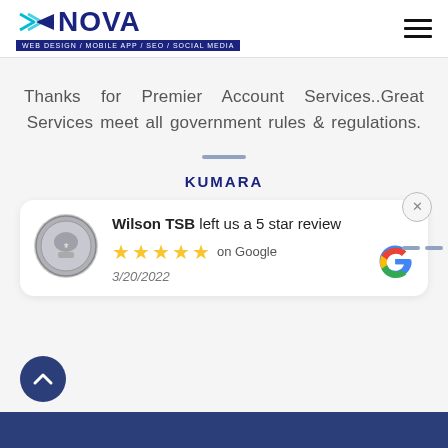[Figure (logo): Nova Web Design logo with arrow icon and tagline: WEB DESIGN / MOBILE APP / SEO / SOCIAL MEDIA]
Thanks for Premier Account Services..Great Services meet all government rules & regulations.
KUMARA
[Figure (screenshot): Google review card: Wilson TSB left us a 5 star review, 5 gold stars, on Google, date 3/20/2022, Google G logo]